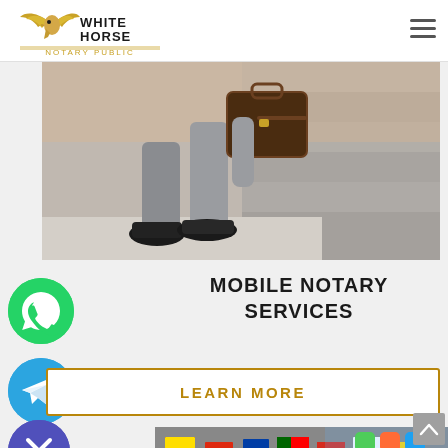[Figure (logo): White Horse Notary Public logo with winged horse icon]
[Figure (photo): Business person walking with briefcase on steps, lower body visible]
MOBILE NOTARY SERVICES
LEARN MORE
[Figure (illustration): WhatsApp green circle chat icon]
[Figure (illustration): Telegram blue circle icon]
[Figure (illustration): Purple close X circle - Get Chaty widget]
[Figure (photo): Colorful international flags on table]